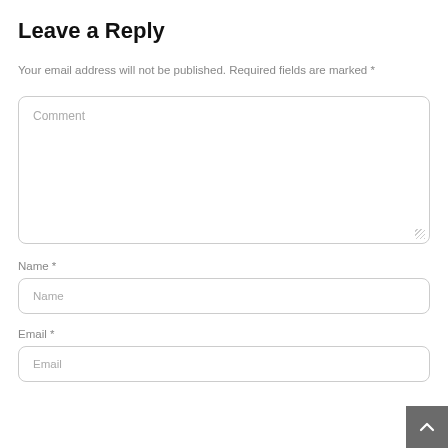Leave a Reply
Your email address will not be published. Required fields are marked *
[Figure (screenshot): Comment textarea input field with placeholder text 'Comment' and resize handle]
Name *
[Figure (screenshot): Name text input field with placeholder text 'Name']
Email *
[Figure (screenshot): Email text input field with placeholder text 'Email']